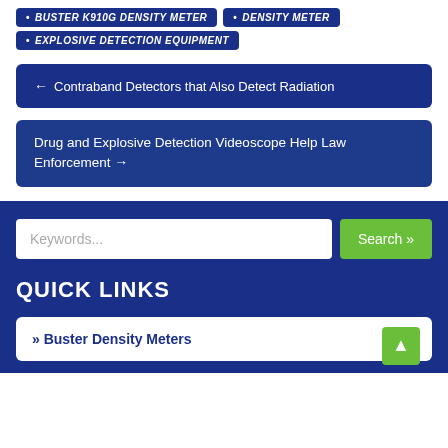BUSTER K910G DENSITY METER
DENSITY METER
EXPLOSIVE DETECTION EQUIPMENT
← Contraband Detectors that Also Detect Radiation
Drug and Explosive Detection Videoscope Help Law Enforcement →
Keywords...
Search »
QUICK LINKS
» Buster Density Meters